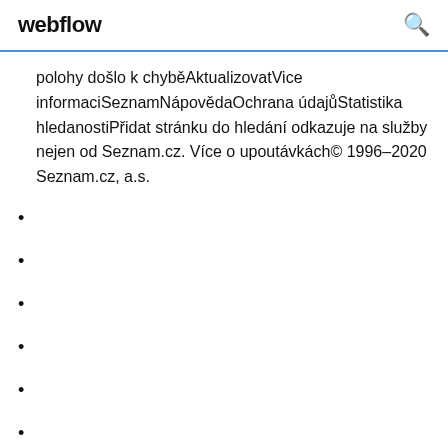webflow
polohy došlo k chyběAktualizovatVice informaciSeznamNápovědaOchrana údajůStatistika hledanostiPřidat stránku do hledání odkazuje na služby nejen od Seznam.cz. Více o upoutávkách© 1996–2020 Seznam.cz, a.s.
1214